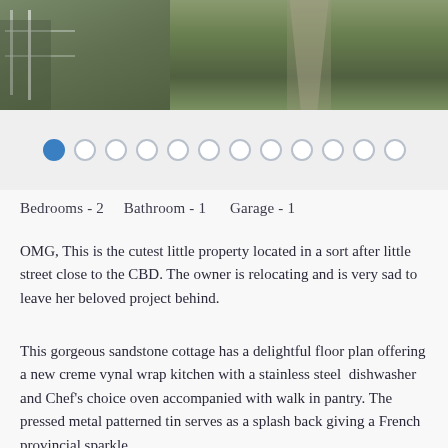[Figure (photo): Outdoor photo showing a fenced path with grass and a concrete walkway]
● ○ ○ ○ ○ ○ ○ ○ ○ ○ ○ ○ (carousel dots)
Bedrooms - 2    Bathroom - 1    Garage - 1
OMG, This is the cutest little property located in a sort after little street close to the CBD.  The owner is relocating and is very sad to leave her beloved project behind.
This gorgeous sandstone cottage has a delightful floor plan offering a new creme vynal wrap kitchen with a stainless steel  dishwasher and Chef's choice oven accompanied with walk in pantry.  The pressed metal patterned tin serves as a splash back giving a French provincial sparkle.